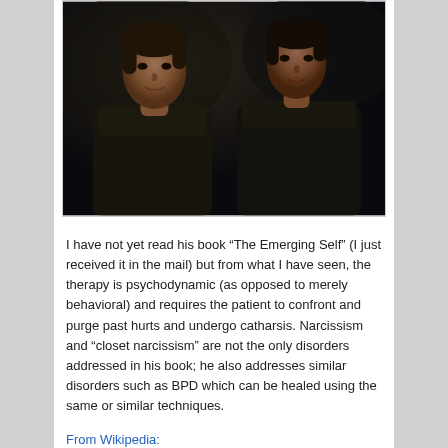[Figure (photo): Two people in dark clothing standing together against a dark background, photographed in low light.]
I have not yet read his book “The Emerging Self” (I just received it in the mail) but from what I have seen, the therapy is psychodynamic (as opposed to merely behavioral) and requires the patient to confront and purge past hurts and undergo catharsis. Narcissism and “closet narcissism” are not the only disorders addressed in his book; he also addresses similar disorders such as BPD which can be healed using the same or similar techniques.
From Wikipedia: